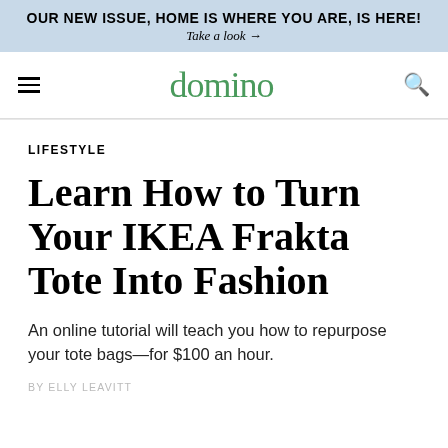OUR NEW ISSUE, HOME IS WHERE YOU ARE, IS HERE!
Take a look →
domino
LIFESTYLE
Learn How to Turn Your IKEA Frakta Tote Into Fashion
An online tutorial will teach you how to repurpose your tote bags—for $100 an hour.
BY ELLY LEAVITT